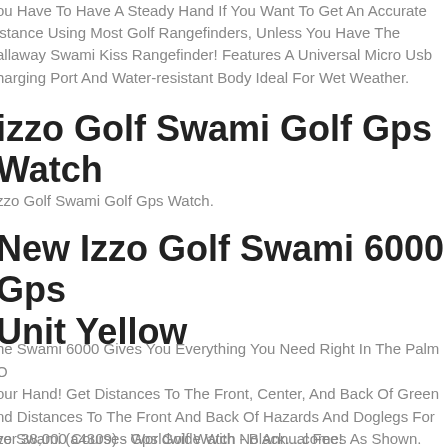ou Have To Have A Steady Hand If You Want To Get An Accurate istance Using Most Golf Rangefinders, Unless You Have The allaway Swami Kiss Rangefinder! Features A Universal Micro Usb harging Port And Water-resistant Body Ideal For Wet Weather.
izzo Golf Swami Golf Gps Watch
zzo Golf Swami Golf Gps Watch.
New Izzo Golf Swami 6000 Gps Unit Yellow
he Swami 6000 Gives You Everything You Need Right In The Palm O our Hand! Get Distances To The Front, Center, And Back Of Green nd Distances To The Front And Back Of Hazards And Doglegs For ver 38,000 Courses Worldwide With No Annual Fee!
zo Swami (a4309) - Gps Golf Watch - Black....comes As Shown.